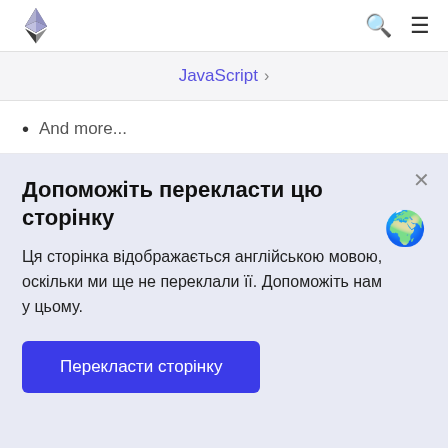Ethereum logo | Search | Menu
JavaScript >
And more...
Допоможіть перекласти цю сторінку
Ця сторінка відображається англійською мовою, оскільки ми ще не переклали її. Допоможіть нам у цьому.
Перекласти сторінку